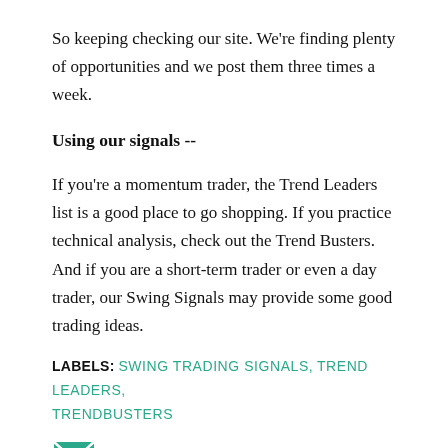So keeping checking our site. We're finding plenty of opportunities and we post them three times a week.
Using our signals --
If you're a momentum trader, the Trend Leaders list is a good place to go shopping. If you practice technical analysis, check out the Trend Busters. And if you are a short-term trader or even a day trader, our Swing Signals may provide some good trading ideas.
LABELS: SWING TRADING SIGNALS, TREND LEADERS, TRENDBUSTERS
[Figure (other): Email/envelope icon for sharing]
SHARE